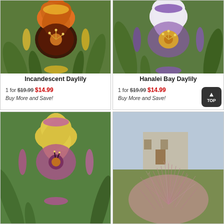[Figure (photo): Orange and dark red frilly daylily flower with yellow fringe, Incandescent Daylily]
Incandescent Daylily
1 for $19.99 $14.99
Buy More and Save!
[Figure (photo): White and purple frilly daylily flower with lavender edges, Hanalei Bay Daylily]
Hanalei Bay Daylily
1 for $19.99 $14.99
Buy More and Save!
[Figure (photo): Yellow and pink/purple frilly daylily flower, bottom left card]
[Figure (photo): Pink fluffy ornamental grass plant, bottom right card]